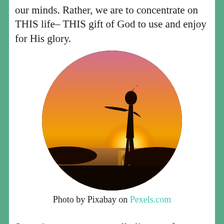our minds. Rather, we are to concentrate on THIS life– THIS gift of God to use and enjoy for His glory.
[Figure (photo): Oval-cropped photo of a person silhouetted against a golden sunset over the ocean, arms outstretched, standing on a beach.]
Photo by Pixabay on Pexels.com
Sometimes, we get a small glimpse of eternity– a transcendent moment of such natural beauty that we are hyper-aware of God's Sovereignty; or a horrific scene of destruction and Sin that makes us shudder and recoil. But the rest is better left to eternity as we